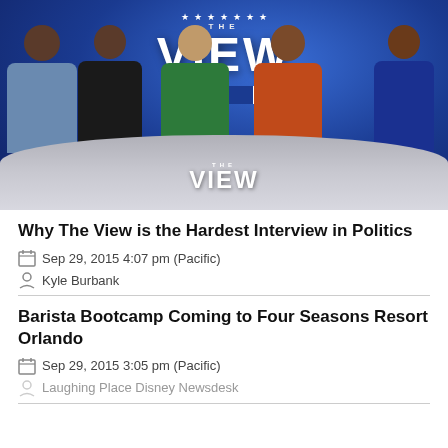[Figure (photo): Photo of The View TV show hosts seated at a curved desk with 'THE VIEW' logo visible. Five women hosts are seated, with the show's signature logo displayed prominently in the background and on the desk panel.]
Why The View is the Hardest Interview in Politics
Sep 29, 2015 4:07 pm (Pacific)
Kyle Burbank
Barista Bootcamp Coming to Four Seasons Resort Orlando
Sep 29, 2015 3:05 pm (Pacific)
Laughing Place Disney Newsdesk